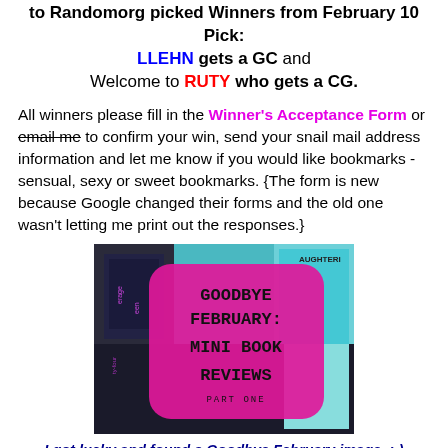to Randomorg picked Winners from February 10 Pick: LLEHN gets a GC and Welcome to RUTY who gets a CG.
All winners please fill in the Winner's Acceptance Form or email me to confirm your win, send your snail mail address information and let me know if you would like bookmarks - sensual, sexy or sweet bookmarks. {The form is new because Google changed their forms and the old one wasn't letting me print out the responses.}
[Figure (photo): Goodbye February: Mini Book Reviews Part One book cover collage image with pink rounded rectangle overlay containing the text in typewriter font]
I got lucky and found a Goodbye February image. :-) Image found at Vivatramp.